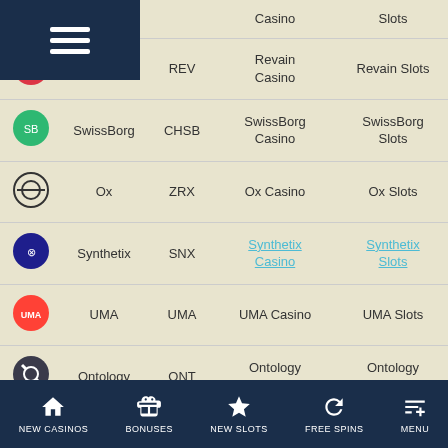|  | Name | Symbol | Casino | Slots | Live Casino | Blackjack |
| --- | --- | --- | --- | --- | --- | --- |
|  |  |  | Casino | Slots | Live Casino | Blackjack |
| [Revain icon] | Revain | REV | Revain Casino | Revain Slots | Revain Live Casino | Revain Blackjack |
| [SwissBorg icon] | SwissBorg | CHSB | SwissBorg Casino | SwissBorg Slots | SwissBorg Live Casino | SwissBorg Blackjack |
| [Ox icon] | Ox | ZRX | Ox Casino | Ox Slots | Ox Live Casino | Ox Blackjack |
| [Synthetix icon] | Synthetix | SNX | Synthetix Casino | Synthetix Slots | Synthetix Live Casino | Synthetix Blackjack |
| [UMA icon] | UMA | UMA | UMA Casino | UMA Slots | UMA Live Casino | UMA Blackjack |
| [Ontology icon] | Ontology | ONT | Ontology Casino | Ontology Slots | Ontology Live Casino | Ontology Blackjack |
NEW CASINOS | BONUSES | NEW SLOTS | FREE SPINS | MENU